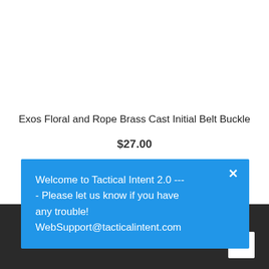Exos Floral and Rope Brass Cast Initial Belt Buckle
$27.00
SELECT OPTIONS
Welcome to Tactical Intent 2.0 --- Please let us know if you have any trouble! WebSupport@tacticalintent.com